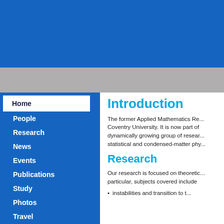[Figure (other): Blue banner header at the top of the page]
[Figure (other): Grey stripe navigation bar below the blue banner]
Home
People
Research
News
Events
Publications
Study
Photos
Travel
Contact
Introduction
The former Applied Mathematics Research Centre at Coventry University. It is now part of a dynamically growing group of researchers in statistical and condensed-matter physics.
Research
Our research is focused on theoretical methods. In particular, subjects covered include
instabilities and transition to t